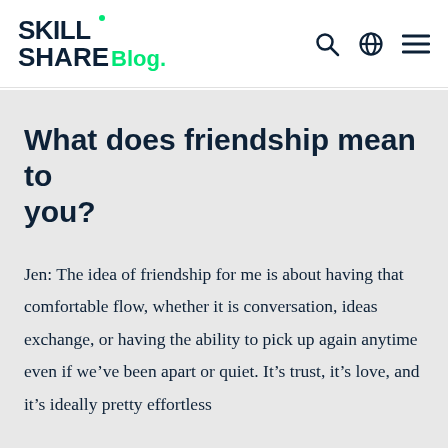Skillshare Blog.
What does friendship mean to you?
Jen: The idea of friendship for me is about having that comfortable flow, whether it is conversation, ideas exchange, or having the ability to pick up again anytime even if we've been apart or quiet. It's trust, it's love, and it's ideally pretty effortless